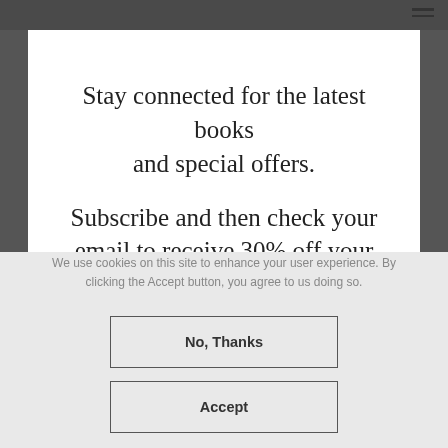Stay connected for the latest books and special offers.
Subscribe and then check your email to receive 30% off your first order!
We use cookies on this site to enhance your user experience. By clicking the Accept button, you agree to us doing so.
No, Thanks
Accept